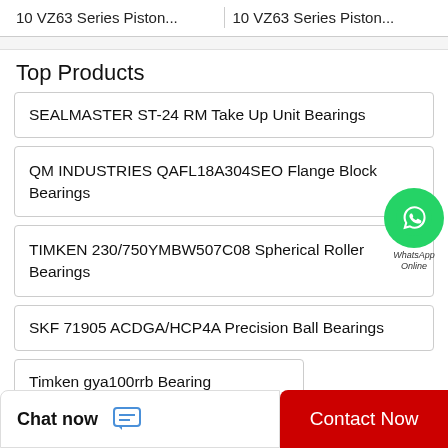10 VZ63 Series Piston...   10 VZ63 Series Piston...
Top Products
SEALMASTER ST-24 RM Take Up Unit Bearings
QM INDUSTRIES QAFL18A304SEO Flange Block Bearings
TIMKEN 230/750YMBW507C08 Spherical Roller Bearings
SKF 71905 ACDGA/HCP4A Precision Ball Bearings
Timken gya100rrb Bearing
Chat now   Contact Now